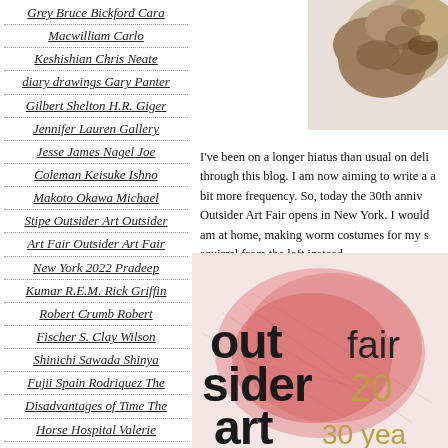Grey Bruce Bickford Cara Macwilliam Carlo Keshishian Chris Neate diary drawings Gary Panter Gilbert Shelton H.R. Giger Jennifer Lauren Gallery Jesse James Nagel Joe Coleman Keisuke Ishno Makoto Okawa Michael Stipe Outsider Art Outsider Art Fair Outsider Art Fair New York 2022 Pradeep Kumar R.E.M. Rick Griffin Robert Crumb Robert Fischer S. Clay Wilson Shinichi Sawada Shinya Fujii Spain Rodriquez The Disadvantages of Time The Horse Hospital Valerie Potter
[Figure (photo): Partial image of mushroom-like or sculptural artwork, top-right corner of page]
I've been on a longer hiatus than usual on deli through this blog. I am now aiming to write a a bit more frequency. So, today the 30th anniv Outsider Art Fair opens in New York. I would am at home, making worm costumes for my s squirrel from the loft instead.
[Figure (photo): Outsider Art Fair promotional image showing the text 'out sider art fair 20...' with bold black lettering on a reddish/pink textured background]